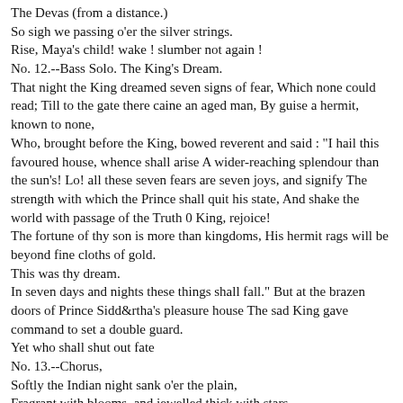The Devas (from a distance.)
So sigh we passing o'er the silver strings.
Rise, Maya's child! wake ! slumber not again !
No. 12.--Bass Solo. The King's Dream.
That night the King dreamed seven signs of fear, Which none could read; Till to the gate there caine an aged man, By guise a hermit, known to none,
Who, brought before the King, bowed reverent and said : "I hail this favoured house, whence shall arise A wider-reaching splendour than the sun's! Lo! all these seven fears are seven joys, and signify The strength with which the Prince shall quit his state, And shake the world with passage of the Truth 0 King, rejoice!
The fortune of thy son is more than kingdoms, His hermit rags will be beyond fine cloths of gold.
This was thy dream.
In seven days and nights these things shall fall." But at the brazen doors of Prince Sidd&rtha's pleasure house The sad King gave command to set a double guard.
Yet who shall shut out fate
No. 13.--Chorus,
Softly the Indian night sank o'er the plain,
Fragrant with blooms, and jewelled thick with stars,
And cool with mountain airs sighing adown